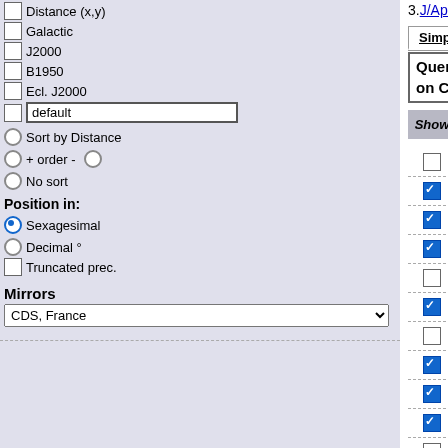3.J/ApJ/704/531/refs   References
Simple Constraint | List Of Constraints
Query by Constraints ? applied on Columns (Output Order: + -)
| Show | Sort | Join tables more join | Column |
| --- | --- | --- | --- |
| ☐ | ○ | (ALL) | recno |
| ☑ | ○ | (1+2) | Name |
| ☑ | ○ | (1+2) | RAJ2000 |
| ☑ | ○ | (1+2) | DEJ2000 |
| ☐ | ○ | (1) | SB |
| ☑ | ○ | (1) | Sep |
| ☐ | ○ | (1) | e_Sep |
| ☑ | ○ | (1) | n_Flux |
| ☑ | ○ | (1) | Flux |
| ☑ | ○ | (1+2) | SpT |
| ☐ | ○ | (1+2) | e_SpT |
Distance (x,y)
Galactic
J2000
B1950
Ecl. J2000
default
Sort by Distance
+ order -
No sort
Position in:
Sexagesimal
Decimal °
Truncated prec.
Mirrors
CDS, France